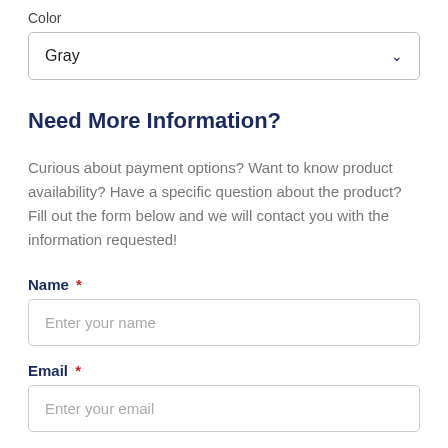Color
Gray
Need More Information?
Curious about payment options? Want to know product availability? Have a specific question about the product? Fill out the form below and we will contact you with the information requested!
Name *
Enter your name
Email *
Enter your email